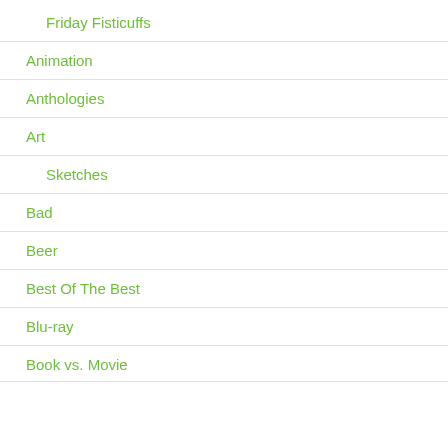Friday Fisticuffs
Animation
Anthologies
Art
Sketches
Bad
Beer
Best Of The Best
Blu-ray
Book vs. Movie